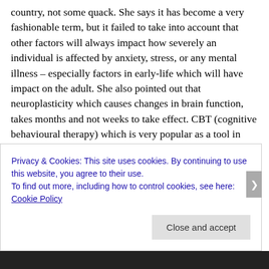country, not some quack. She says it has become a very fashionable term, but it failed to take into account that other factors will always impact how severely an individual is affected by anxiety, stress, or any mental illness – especially factors in early-life which will have impact on the adult. She also pointed out that neuroplasticity which causes changes in brain function, takes months and not weeks to take effect. CBT (cognitive behavioural therapy) which is very popular as a tool in building resilience generally fails to provide any lasting solutions because it is usually only carried out over a period of on average 10 weeks (and it's only allowed via NICE on the NHS for 6-10 weeks). It does help some people, but not many. But it's cheap and so it's usually the first line of attack. Businesses love it – NLP is mostly just CBT under a business and not a psychologist guise. Work hard, work longer and if
Privacy & Cookies: This site uses cookies. By continuing to use this website, you agree to their use.
To find out more, including how to control cookies, see here: Cookie Policy